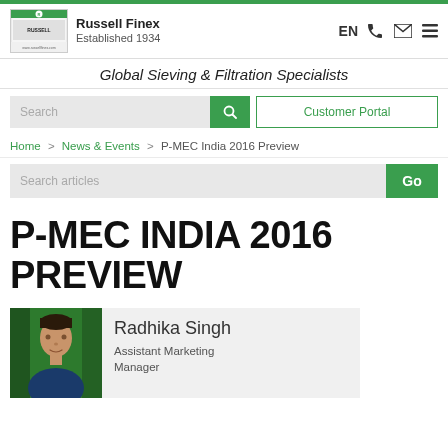Russell Finex | Established 1934 | Global Sieving & Filtration Specialists
Search | Customer Portal
Home > News & Events > P-MEC India 2016 Preview
Search articles | Go
P-MEC INDIA 2016 PREVIEW
Radhika Singh
Assistant Marketing Manager